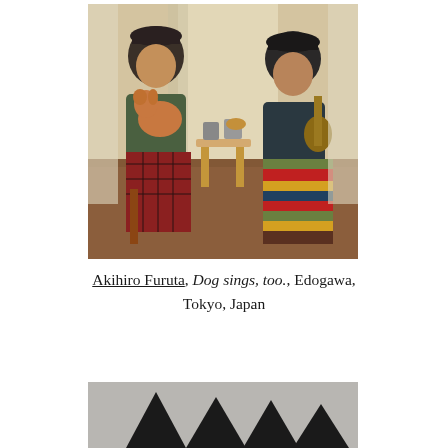[Figure (photo): Two people sitting on chairs in a warm indoor setting. The person on the left holds a Shiba Inu dog and has a plaid blanket draped over their lap. The person on the right plays a ukulele or small guitar and has a colorful crocheted blanket. A small wooden stool with mugs is between them. Curtains in the background.]
Akihiro Furuta, Dog sings, too., Edogawa, Tokyo, Japan
[Figure (photo): Partial view of a grey background with several black triangle/pyramid shapes visible at the bottom of the page.]